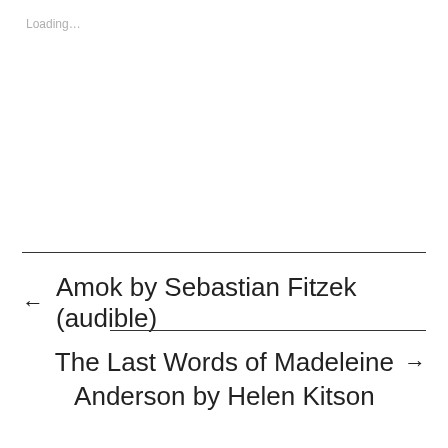Loading…
← Amok by Sebastian Fitzek (audible)
The Last Words of Madeleine Anderson by Helen Kitson →